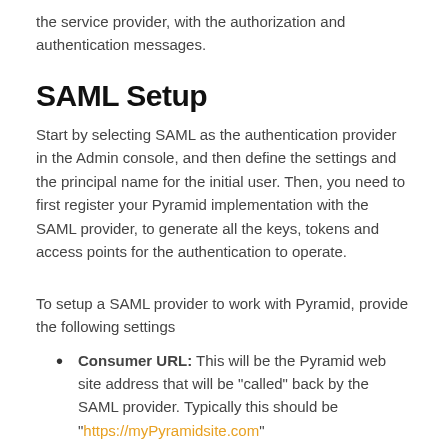the service provider, with the authorization and authentication messages.
SAML Setup
Start by selecting SAML as the authentication provider in the Admin console, and then define the settings and the principal name for the initial user. Then, you need to first register your Pyramid implementation with the SAML provider, to generate all the keys, tokens and access points for the authentication to operate.
To setup a SAML provider to work with Pyramid, provide the following settings
Consumer URL: This will be the Pyramid web site address that will be "called" back by the SAML provider. Typically this should be "https://myPyramidsite.com"
SAML Issuer: the access token or identifier will be provided